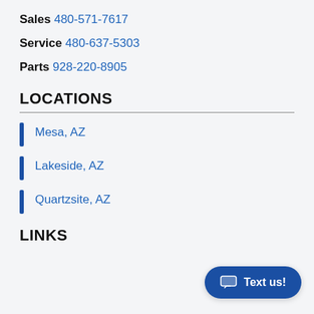Sales 480-571-7617
Service 480-637-5303
Parts 928-220-8905
LOCATIONS
Mesa, AZ
Lakeside, AZ
Quartzsite, AZ
LINKS
Text us!